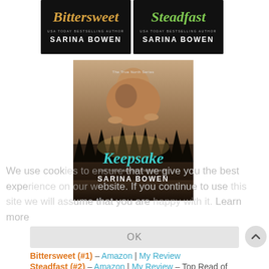[Figure (illustration): Two book covers side by side: 'Bittersweet' and 'Steadfast' by Sarina Bowen (USA Today Bestselling Author), dark backgrounds with stylized titles]
[Figure (illustration): Book cover for 'Keepsake' by Sarina Bowen (USA Today Bestselling Author), The True North Series, showing two people embracing against a forest backdrop]
We use cookies to ensure that we give you the best experience on our website. If you continue to use this site we will assume that you are happy with it. Learn more
OK
Bittersweet (#1) – Amazon | My Review
Steadfast (#2) – Amazon | My Review – Top Read of